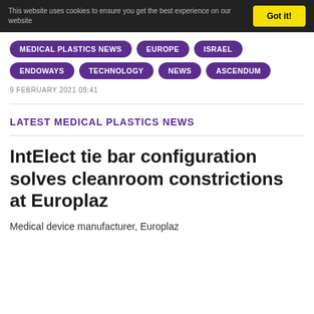This website uses cookies to ensure you get the best experience on our website  Got it!
MEDICAL PLASTICS NEWS
EUROPE
ISRAEL
ENDOWAYS
TECHNOLOGY
NEWS
ASCENDUM
9 FEBRUARY 2021 09:41
LATEST MEDICAL PLASTICS NEWS
IntElect tie bar configuration solves cleanroom constrictions at Europlaz
Medical device manufacturer, Europlaz